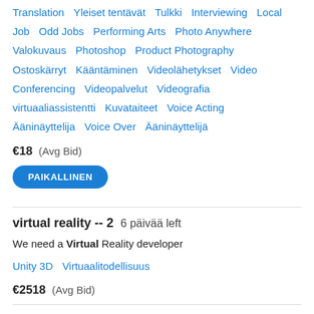Translation  Yleiset tentävät  Tulkki  Interviewing  Local Job  Odd Jobs  Performing Arts  Photo Anywhere  Valokuvaus  Photoshop  Product Photography  Ostoskärryt  Kääntäminen  Videolähetykset  Video Conferencing  Videopalvelut  Videografia  virtuaaliassistentti  Kuvataiteet  Voice Acting  Ääninäyttelija  Voice Over  Ääninäyttelijä
€18  (Avg Bid)
PAIKALLINEN
virtual reality -- 2  6 päivää left
We need a Virtual Reality developer
Unity 3D  Virtuaalitodellisuus
€2518  (Avg Bid)
virtual reality  6 päivää left